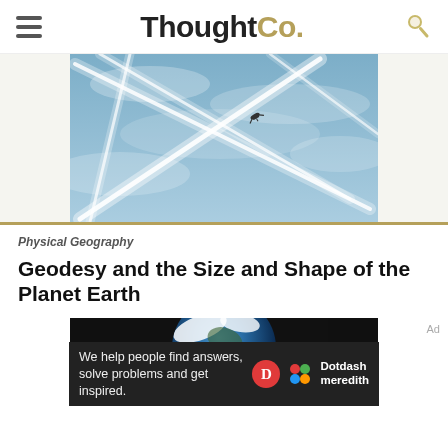ThoughtCo.
[Figure (photo): Airplane contrails crossing in a blue sky, forming an X pattern with multiple white vapor trails]
Physical Geography
Geodesy and the Size and Shape of the Planet Earth
[Figure (photo): Earth from space — blue and white globe against black background, partially visible]
We help people find answers, solve problems and get inspired.
Dotdash meredith